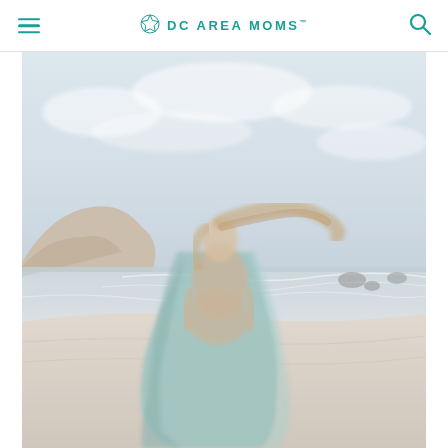DC AREA MOMS
[Figure (photo): A pregnant woman in a flowy mint/sage green dress walking on a beach with cliffs and ocean waves in the background, her hair blowing in the wind, holding her belly with both hands.]